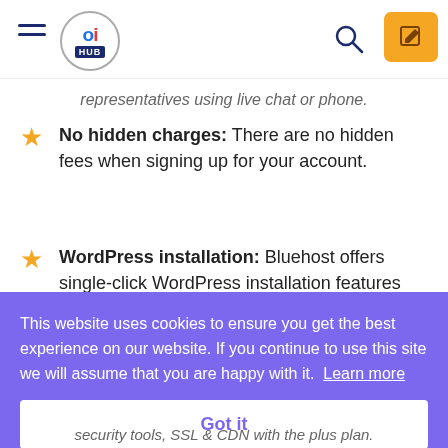oi HUB navigation header
representatives using live chat or phone.
No hidden charges: There are no hidden fees when signing up for your account.
WordPress installation: Bluehost offers single-click WordPress installation features
[Figure (screenshot): Cookie consent overlay with purple background reading: This website uses cookies to ensure you get the best experience on our website. If you continue to use this site we will assume that you are happy with it. Learn more. Got it button.]
security tools, SSL & CDN with the plus plan.